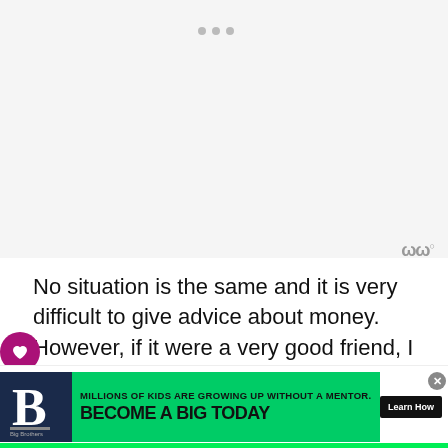[Figure (screenshot): Light gray blank area representing an embedded video or media placeholder, with three small dot icons near the top center]
No situation is the same and it is very difficult to give advice about money. However, if it were a very good friend, I would suggest that she keeps a record of everything she spent money on for a month. I would go through it with her to s... advice-to-h... where
[Figure (other): Advertisement banner: Big Brothers Big Sisters logo on dark background, green panel with text 'MILLIONS OF KIDS ARE GROWING UP WITHOUT A MENTOR. BECOME A BIG TODAY' and black 'Learn How' button]